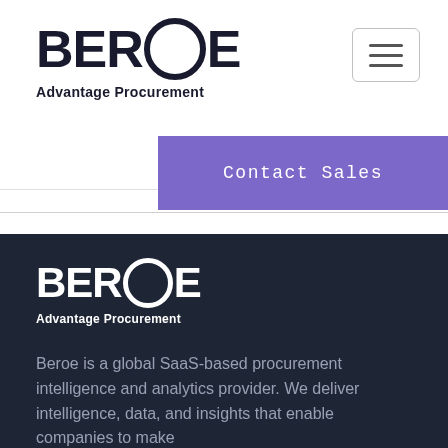[Figure (logo): Beroe logo with circle O and tagline 'Advantage Procurement' on white background]
[Figure (other): Hamburger menu icon button with three horizontal lines inside a rounded rectangle border]
[Figure (other): Purple 'Contact Sales' button]
[Figure (logo): Beroe logo with circle O and tagline 'Advantage Procurement' on dark navy background]
Beroe is a global SaaS-based procurement intelligence and analytics provider. We deliver intelligence, data, and insights that enable companies to make